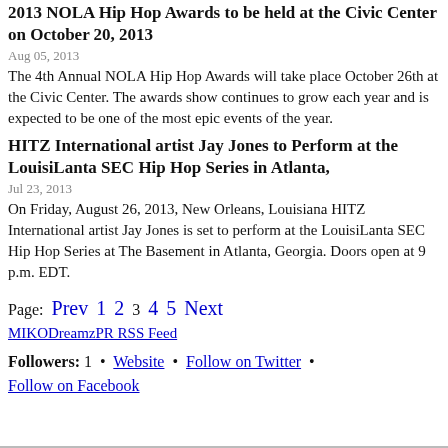2013 NOLA Hip Hop Awards to be held at the Civic Center on October 20, 2013
Aug 05, 2013
The 4th Annual NOLA Hip Hop Awards will take place October 26th at the Civic Center. The awards show continues to grow each year and is expected to be one of the most epic events of the year.
HITZ International artist Jay Jones to Perform at the LouisiLanta SEC Hip Hop Series in Atlanta,
Jul 23, 2013
On Friday, August 26, 2013, New Orleans, Louisiana HITZ International artist Jay Jones is set to perform at the LouisiLanta SEC Hip Hop Series at The Basement in Atlanta, Georgia. Doors open at 9 p.m. EDT.
Page: Prev 1 2 3 4 5 Next
MIKODreamzPR RSS Feed
Followers: 1 • Website • Follow on Twitter • Follow on Facebook